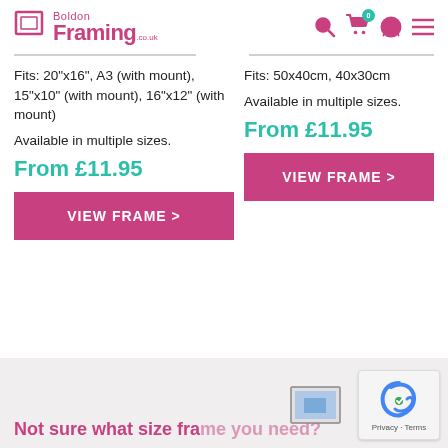Boldon Framing .co.uk
Fits: 20"x16", A3 (with mount), 15"x10" (with mount), 16"x12" (with mount)
Available in multiple sizes.
From £11.95
VIEW FRAME >
Fits: 50x40cm, 40x30cm
Available in multiple sizes.
From £11.95
VIEW FRAME >
Not sure what size frame you need?